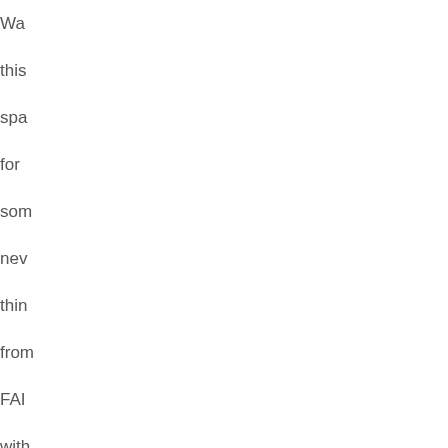Wa this spa for som nev thin from FAI with an IMF Pol pap on this top and in the sec hal of 20...